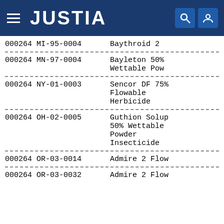JUSTIA
| Case ID | Product Name |
| --- | --- |
| 000264 MI-95-0004 | Baythroid 2 |
| 000264 MN-97-0004 | Bayleton 50% Wettable Powder |
| 000264 NY-01-0003 | Sencor DF 75% Flowable Herbicide |
| 000264 OH-02-0005 | Guthion Solupowder 50% Wettable Powder Insecticide |
| 000264 OR-03-0014 | Admire 2 Flow |
| 000264 OR-03-0032 | Admire 2 Flow |